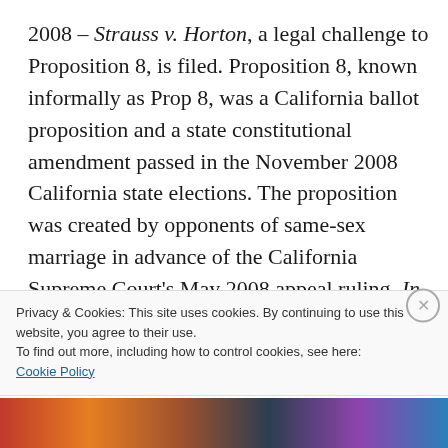2008 – Strauss v. Horton, a legal challenge to Proposition 8, is filed. Proposition 8, known informally as Prop 8, was a California ballot proposition and a state constitutional amendment passed in the November 2008 California state elections. The proposition was created by opponents of same-sex marriage in advance of the California Supreme Court's May 2008 appeal ruling, In re Marriage Cases, which followed the short-lived controversy and found
Privacy & Cookies: This site uses cookies. By continuing to use this website, you agree to their use.
To find out more, including how to control cookies, see here:
Cookie Policy
Close and accept